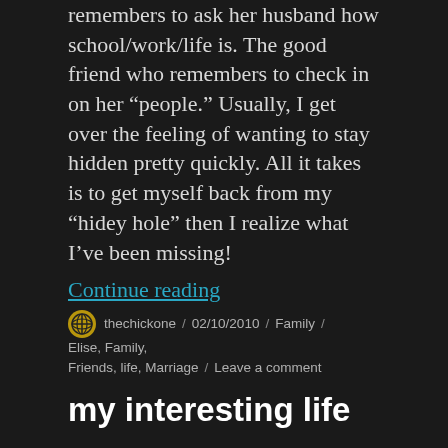remembers to ask her husband how school/work/life is. The good friend who remembers to check in on her “people.” Usually, I get over the feeling of wanting to stay hidden pretty quickly. All it takes is to get myself back from my “hidey hole” then I realize what I’ve been missing!
Continue reading
thechickone / 02/10/2010 / Family / Elise, Family, Friends, life, Marriage / Leave a comment
my interesting life
I know this lady who tells everyone who